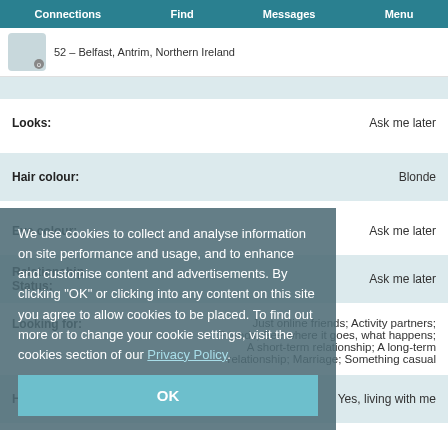Connections | Find | Messages | Menu
52 – Belfast, Antrim, Northern Ireland
Looks: Ask me later
Hair colour: Blonde
Eye colour: Ask me later
Relationship Status: Ask me later
Looking for: Just online friends; Activity partners; Friends; See where it goes, what happens; A short-term relationship; A long-term relationship; Marriage; Something casual
We use cookies to collect and analyse information on site performance and usage, and to enhance and customise content and advertisements. By clicking "OK" or clicking into any content on this site you agree to allow cookies to be placed. To find out more or to change your cookie settings, visit the cookies section of our Privacy Policy.
OK
Have children: Yes, living with me